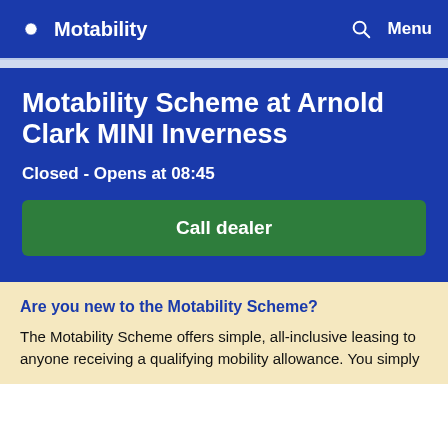Motability
Motability Scheme at Arnold Clark MINI Inverness
Closed - Opens at 08:45
Call dealer
Are you new to the Motability Scheme?
The Motability Scheme offers simple, all-inclusive leasing to anyone receiving a qualifying mobility allowance. You simply